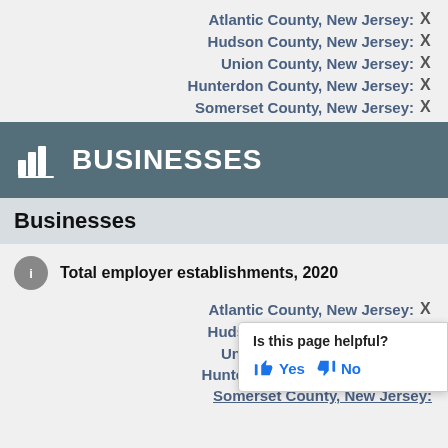Atlantic County, New Jersey: X
Hudson County, New Jersey: X
Union County, New Jersey: X
Hunterdon County, New Jersey: X
Somerset County, New Jersey: X
BUSINESSES
Businesses
Total employer establishments, 2020
Atlantic County, New Jersey: X
Hudson County, New Jersey: X
Union County, New Jersey: X
Hunterdon County, New Jersey: X
Somerset County, New Jersey: X
Is this page helpful? Yes No